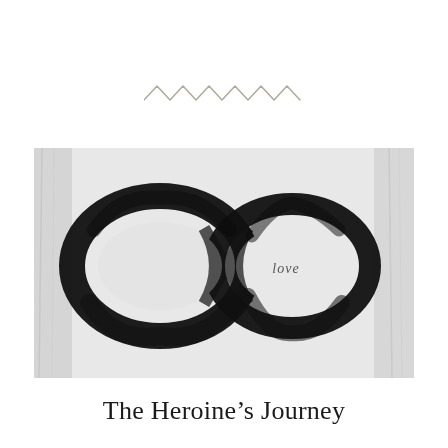[Figure (illustration): Zigzag/chevron decorative pattern in light gray, resembling repeating V and inverted-V shapes]
[Figure (illustration): Brush-painted infinity symbol (lemniscate) in black ink on a light gray textured background. The word 'love' is written in small script inside the right loop of the infinity symbol.]
The Heroine’s Journey